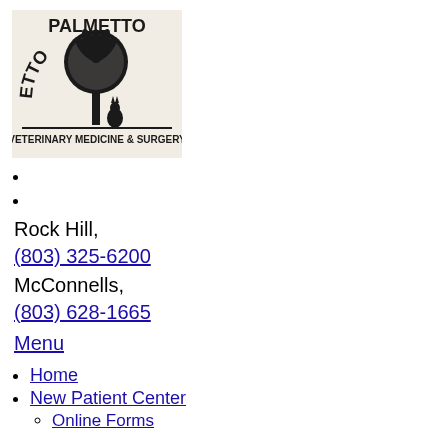[Figure (logo): Palmetto Veterinary Medicine & Surgery logo — palm tree with cat silhouette and text arched above]
Rock Hill,
(803) 325-6200
McConnells,
(803) 628-1665
Menu
Home
New Patient Center
Online Forms